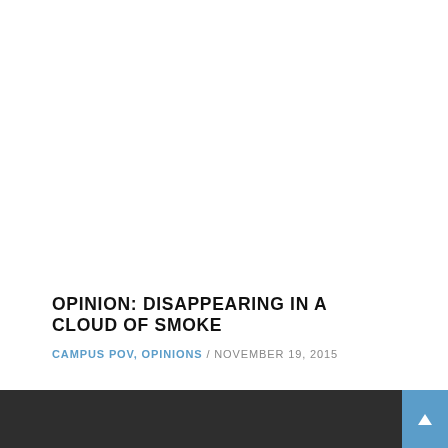OPINION: DISAPPEARING IN A CLOUD OF SMOKE
CAMPUS POV, OPINIONS / NOVEMBER 19, 2015